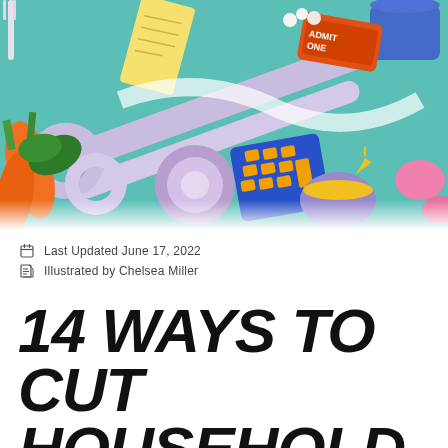[Figure (illustration): Colorful illustrated image showing household items including scissors, vegetables (carrots, greens), a calculator/keyboard with orange keys, a bowl of liquid, tape roll, popcorn, an admission ticket, and various other consumer goods on a teal/purple background.]
Last Updated June 17, 2022
Illustrated by Chelsea Miller
14 WAYS TO CUT HOUSEHOLD EXPENSES